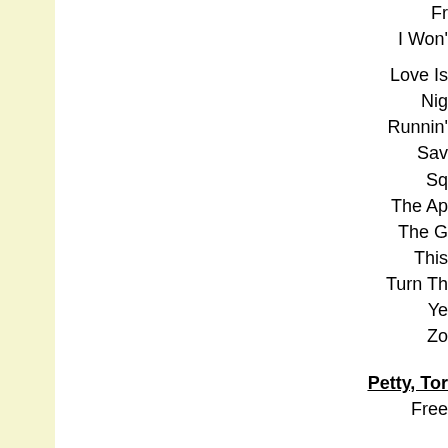Fr...
I Won'...
Love Is...
Nig...
Runnin'...
Sav...
Sq...
The Ap...
The G...
This...
Turn Th...
Ye...
Zo...
Petty, Tor...
Free ...
Don't B...
PFR (P...
Liv...